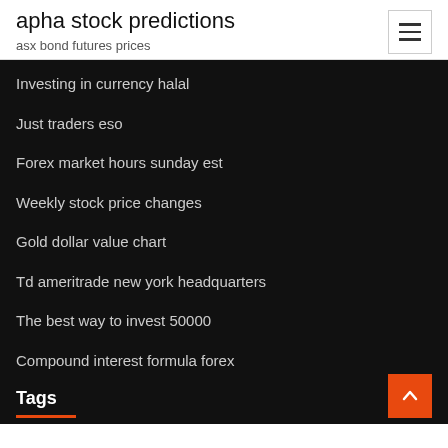apha stock predictions
asx bond futures prices
Investing in currency halal
Just traders eso
Forex market hours sunday est
Weekly stock price changes
Gold dollar value chart
Td ameritrade new york headquarters
The best way to invest 50000
Compound interest formula forex
Tags